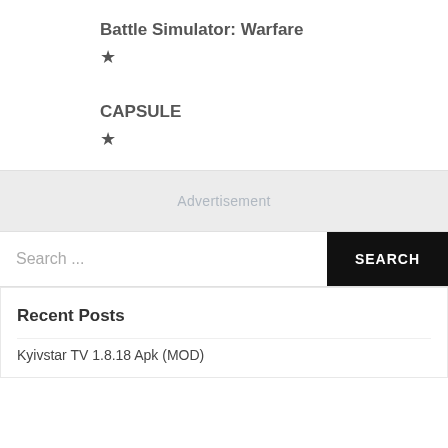Battle Simulator: Warfare
★
CAPSULE
★
Advertisement
Search ...
SEARCH
Recent Posts
Kyivstar TV 1.8.18 Apk (MOD)